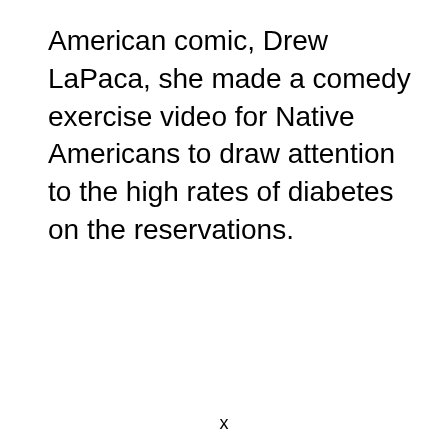American comic, Drew LaPaca, she made a comedy exercise video for Native Americans to draw attention to the high rates of diabetes on the reservations.
x